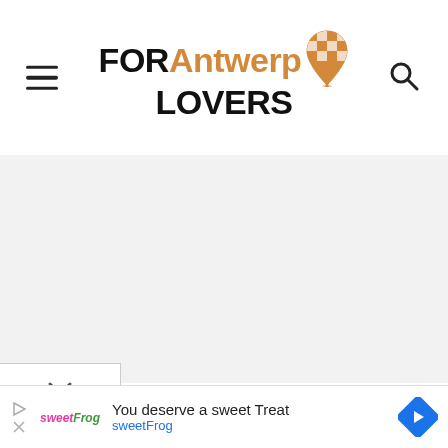FOR Antwerp LOVERS — site header with hamburger menu and search icon
[Figure (screenshot): Large white/gray content area below header, mostly empty]
[Figure (infographic): Dropdown chevron tab at bottom left]
[Figure (infographic): SweetFrog advertisement banner: 'You deserve a sweet Treat' with sweetFrog logo and navigation arrow icon]